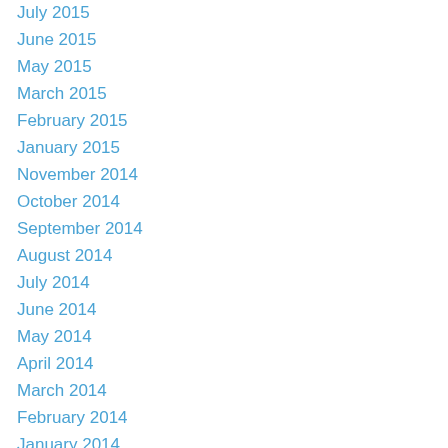July 2015
June 2015
May 2015
March 2015
February 2015
January 2015
November 2014
October 2014
September 2014
August 2014
July 2014
June 2014
May 2014
April 2014
March 2014
February 2014
January 2014
December 2013
November 2013
October 2013